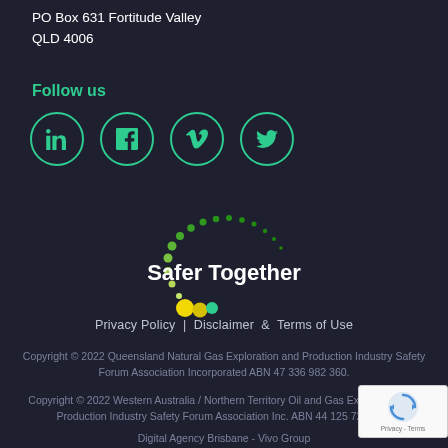PO Box 631 Fortitude Valley
QLD 4006
Follow us
[Figure (illustration): Four social media icons in green circles: LinkedIn, Facebook, Vimeo, Twitter]
[Figure (logo): Safer Together logo with arc of green dots and yellow/green circular dots below text]
Privacy Policy  Disclaimer  &  Terms of Use
Copyright © 2022 Queensland Natural Gas Exploration and Production Industry Safety Forum Association Incorporated ABN 47 336 982 360.
Copyright © 2022 Western Australia / Northern Territory Oil and Gas Exploration and Production Industry Safety Forum Association Inc. ABN 44 125 728 357.
Digital Agency Brisbane - Vivo Group